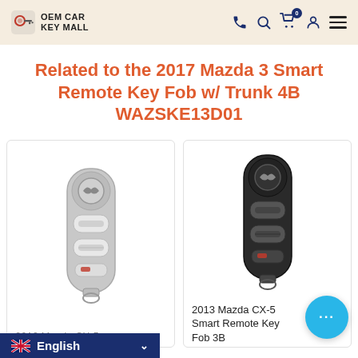OEM CAR KEY MALL — navigation header with logo, phone, search, cart (0), account, menu icons
Related to the 2017 Mazda 3 Smart Remote Key Fob w/ Trunk 4B WAZSKE13D01
[Figure (photo): Silver/gray Mazda smart remote key fob with 3 buttons]
2012 Mazda CX-5
[Figure (photo): Black Mazda smart remote key fob with 3 buttons]
2013 Mazda CX-5 Smart Remote Key Fob 3B